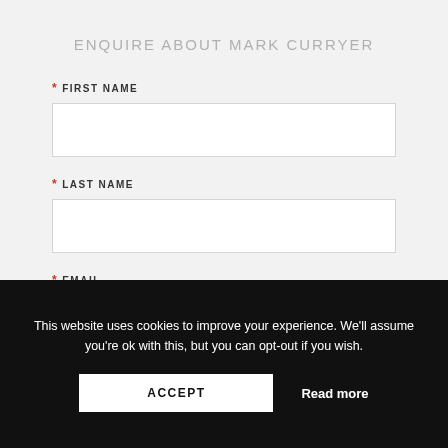ENQUIRE ABOUT MARK CURRYER
* FIRST NAME
* LAST NAME
* EMAIL
This website uses cookies to improve your experience. We'll assume you're ok with this, but you can opt-out if you wish.
ACCEPT
Read more